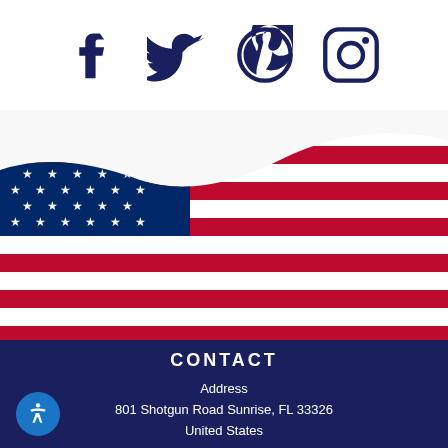[Figure (logo): Social media icons row: Facebook, Twitter, Pinterest, Instagram in dark navy blue]
[Figure (photo): American flag draped/waving, stars and stripes visible, blue canton with white stars on left, red and white stripes on right]
CONTACT
Address
801 Shotgun Road Sunrise, FL 33326
United States
Phone